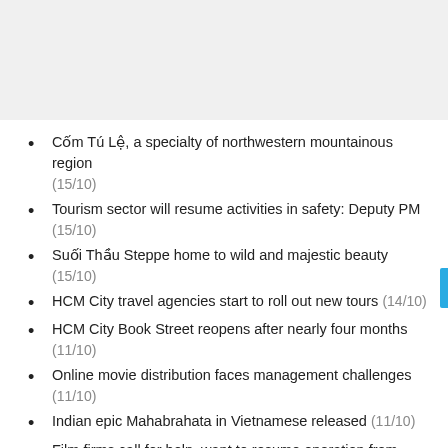[Figure (other): Gray background box at top of page]
Cốm Tú Lệ, a specialty of northwestern mountainous region (15/10)
Tourism sector will resume activities in safety: Deputy PM (15/10)
Suối Thầu Steppe home to wild and majestic beauty (15/10)
HCM City travel agencies start to roll out new tours (14/10)
HCM City Book Street reopens after nearly four months (11/10)
Online movie distribution faces management challenges (11/10)
Indian epic Mahabrahata in Vietnamese released (11/10)
Film firms call for help, want to resume operation from October 15 (05/10)
Storytelling competition launched across Asia (04/10)
Drama clubs livestream shows during COVID-19 pandemic (04/10)